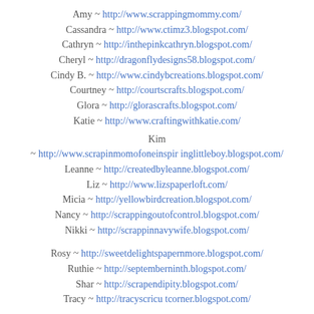Amy ~ http://www.scrappingmommy.com/
Cassandra ~ http://www.ctimz3.blogspot.com/
Cathryn ~ http://inthepinkcathryn.blogspot.com/
Cheryl ~ http://dragonflydesigns58.blogspot.com/
Cindy B. ~ http://www.cindybcreations.blogspot.com/
Courtney ~ http://courtscrafts.blogspot.com/
Glora ~ http://glorascrafts.blogspot.com/
Katie ~ http://www.craftingwithkatie.com/
Kim ~ http://www.scrapinmomofoneinspir inglittleboy.blogspot.com/
Leanne ~ http://createdbyleanne.blogspot.com/
Liz ~ http://www.lizspaperloft.com/
Micia ~ http://yellowbirdcreation.blogspot.com/
Nancy ~ http://scrappingoutofcontrol.blogspot.com/
Nikki ~ http://scrappinnavywife.blogspot.com/
Rosy ~ http://sweetdelightspapernmore.blogspot.com/
Ruthie ~ http://septemberninth.blogspot.com/
Shar ~ http://scrapendipity.blogspot.com/
Tracy ~ http://tracyscricu tcorner.blogspot.com/